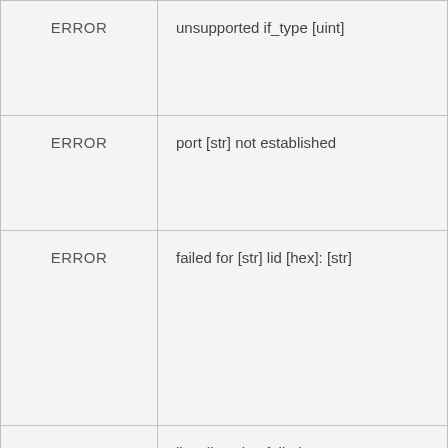| Level | Message |
| --- | --- |
| ERROR | unsupported if_type [uint] |
| ERROR | port [str] not established |
| ERROR | failed for [str] lid [hex]: [str] |
| ERROR | list allocation failed |
| ERROR | STGs exhausted |